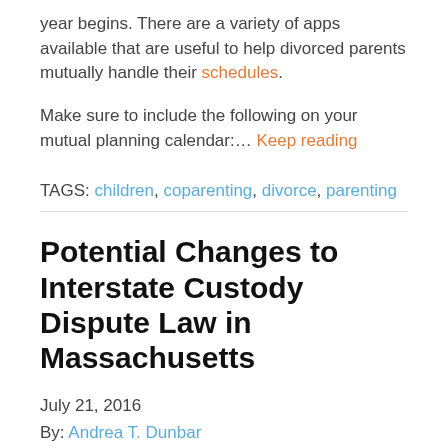year begins. There are a variety of apps available that are useful to help divorced parents mutually handle their schedules.
Make sure to include the following on your mutual planning calendar:… Keep reading
TAGS: children, coparenting, divorce, parenting
Potential Changes to Interstate Custody Dispute Law in Massachusetts
July 21, 2016
By: Andrea T. Dunbar
After a three month maternity leave, and a few